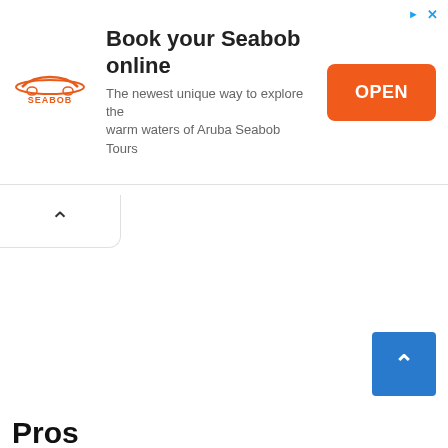[Figure (infographic): Advertisement banner for Seabob with logo, title 'Book your Seabob online', subtitle text, and orange OPEN button. Small triangle and X icons in top-right corner.]
Book your Seabob online
The newest unique way to explore the warm waters of Aruba Seabob Tours
OPEN
^
^
Pros